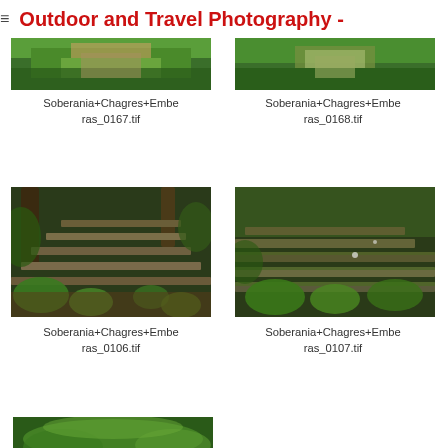≡ Outdoor and Travel Photography -
[Figure (photo): Aerial view of jungle and river, partial top crop - Soberania+Chagres+Emberas_0167.tif]
Soberania+Chagres+Emberas_0167.tif
[Figure (photo): Aerial view of jungle and river, partial top crop - Soberania+Chagres+Emberas_0168.tif]
Soberania+Chagres+Emberas_0168.tif
[Figure (photo): Stone steps in jungle with ferns - Soberania+Chagres+Emberas_0106.tif]
Soberania+Chagres+Emberas_0106.tif
[Figure (photo): Stone steps in jungle with ferns and moss - Soberania+Chagres+Emberas_0107.tif]
Soberania+Chagres+Emberas_0107.tif
[Figure (photo): Partial bottom photo of jungle canopy - beginning of next row]